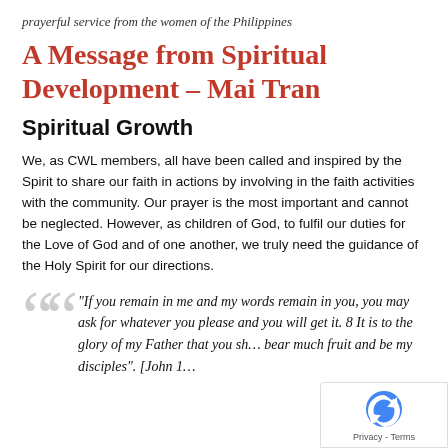prayerful service from the women of the Philippines
A Message from Spiritual Development – Mai Tran
Spiritual Growth
We, as CWL members, all have been called and inspired by the Spirit to share our faith in actions by involving in the faith activities with the community. Our prayer is the most important and cannot be neglected. However, as children of God, to fulfil our duties for the Love of God and of one another, we truly need the guidance of the Holy Spirit for our directions.
“If you remain in me and my words remain in you, you may ask for whatever you please and you will get it. 8 It is to the glory of my Father that you sh… bear much fruit and be my disciples”. [John 1…